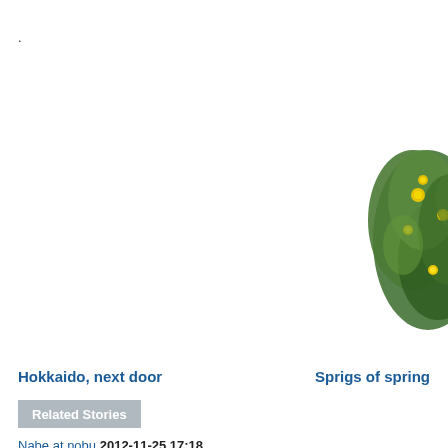.
[Figure (photo): Floral arrangement with green leaves and yellow flowers, partially visible at the right edge of the page]
Hokkaido, next door
Sprigs of spring
Related Stories
Nabe at nobu 2012-11-25 17:18
Celebs arrive at the Golden Globe Awards Party Honoring Young Hollywood at N 2009-12-10 10:48
Chic sushi 2012-11-16 17:23